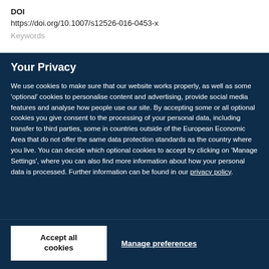DOI
https://doi.org/10.1007/s12526-016-0453-x
Your Privacy
We use cookies to make sure that our website works properly, as well as some 'optional' cookies to personalise content and advertising, provide social media features and analyse how people use our site. By accepting some or all optional cookies you give consent to the processing of your personal data, including transfer to third parties, some in countries outside of the European Economic Area that do not offer the same data protection standards as the country where you live. You can decide which optional cookies to accept by clicking on 'Manage Settings', where you can also find more information about how your personal data is processed. Further information can be found in our privacy policy.
Accept all cookies
Manage preferences